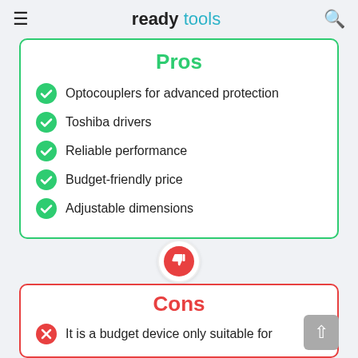ready tools
Pros
Optocouplers for advanced protection
Toshiba drivers
Reliable performance
Budget-friendly price
Adjustable dimensions
Cons
It is a budget device only suitable for